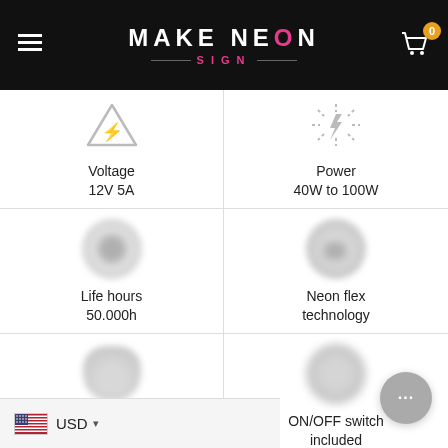Make Neon Sign — navigation header with logo
[Figure (other): Icon: voltage/power plug triangle warning symbol]
Voltage
12V 5A
[Figure (other): Icon: lightning bolt / power symbol]
Power
40W to 100W
[Figure (other): Icon: blurred circle representing life hours]
Life hours
50.000h
[Figure (other): Icon: blurred circle representing neon flex technology]
Neon flex
technology
[Figure (other): Icon: blurred shape representing hanging kit]
Hanging kit
included
[Figure (other): Icon: blurred circle representing ON/OFF switch]
ON/OFF switch
included
USD